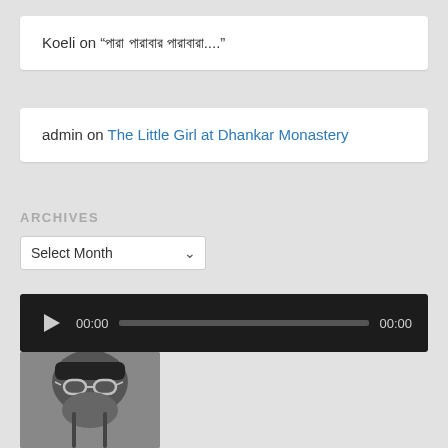Koeli on “পারা পারাবার পারাবারা....”
admin on The Little Girl at Dhankar Monastery
ARCHIVES
Select Month
[Figure (other): Audio player with play button, current time 00:00, progress bar, and end time 00:00 on dark background]
[Figure (photo): Black and white photo of a person wearing sunglasses and a hat, partially cropped at bottom of page]